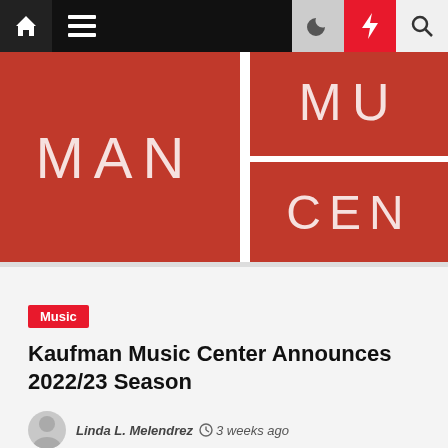Navigation bar with home, menu, dark mode, lightning, search icons
[Figure (photo): Kaufman Music Center logo on red background, showing partial text 'MAN', 'MU', 'CEN' in white letters on red tiles divided by white lines]
Music
Kaufman Music Center Announces 2022/23 Season
Linda L. Melendrez  3 weeks ago